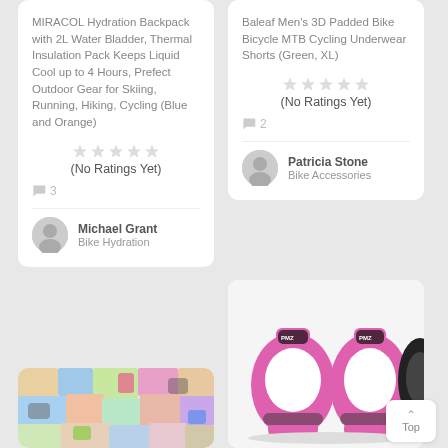MIRACOL Hydration Backpack with 2L Water Bladder, Thermal Insulation Pack Keeps Liquid Cool up to 4 Hours, Prefect Outdoor Gear for Skiing, Running, Hiking, Cycling (Blue and Orange)
(No Ratings Yet)
3
Michael Grant
Bike Hydration
[Figure (photo): Colorful sticker collection image]
Baleaf Men's 3D Padded Bike Bicycle MTB Cycling Underwear Shorts (Green, XL)
(No Ratings Yet)
2
Patricia Stone
Bike Accessories
[Figure (photo): Pink and black knee/elbow protective pads (PMZ brand)]
Top